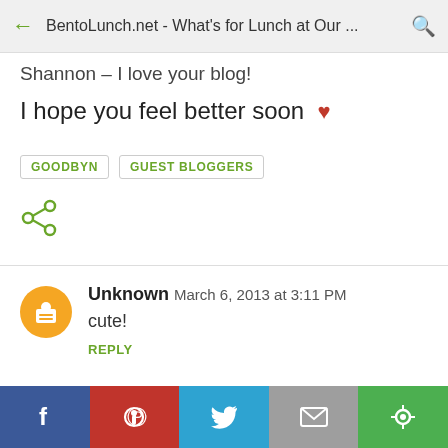BentoLunch.net - What's for Lunch at Our ...
Shannon – I love your blog!
I hope you feel better soon ♥
GOODBYN   GUEST BLOGGERS
Unknown  March 6, 2013 at 3:11 PM
cute!
REPLY